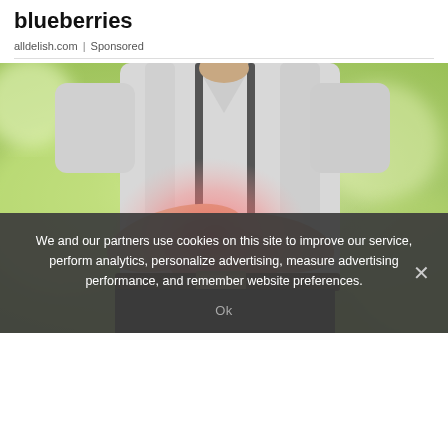blueberries
alldelish.com | Sponsored
[Figure (photo): A person in a light grey shirt and dark pants clutching their abdomen with both hands, with a red/pink highlight over the stomach area suggesting pain, against a blurred green bokeh background.]
We and our partners use cookies on this site to improve our service, perform analytics, personalize advertising, measure advertising performance, and remember website preferences.
Ok